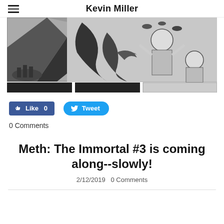Kevin Miller
[Figure (illustration): Black and white comic book artwork showing a dramatic scene with bat-like creature and frightened human figures, plus thumbnail strips below]
Like 0   Tweet
0 Comments
Meth: The Immortal #3 is coming along--slowly!
2/12/2019   0 Comments